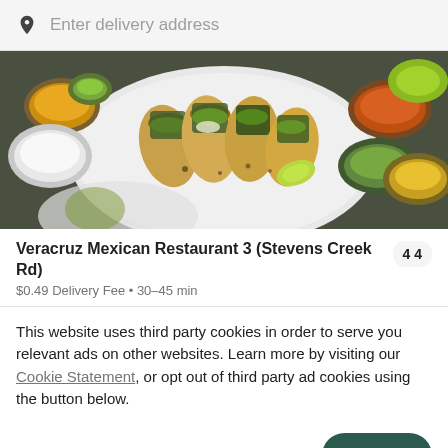Enter delivery address
[Figure (photo): Overhead photo of tacos on a white plate with various sauces in small bowls on a dark green surface]
Veracruz Mexican Restaurant 3 (Stevens Creek Rd)
4.4
$0.49 Delivery Fee • 30-45 min
This website uses third party cookies in order to serve you relevant ads on other websites. Learn more by visiting our Cookie Statement, or opt out of third party ad cookies using the button below.
OPT OUT
GOT IT